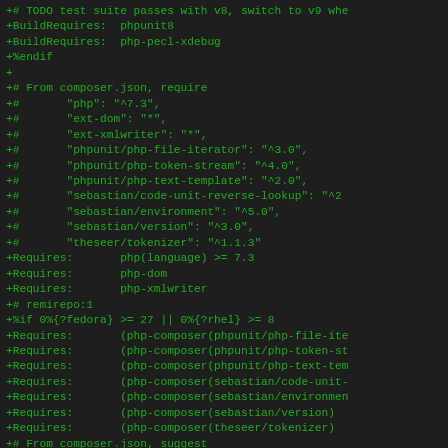+# TODO test suite passes with v8, switch to v9 whe
+BuildRequires:  phpunit8
+BuildRequires:  php-pecl-xdebug
+%endif
+
+# From composer.json, require
+#       "php": "^7.3",
+#       "ext-dom": "*",
+#       "ext-xmlwriter": "*",
+#       "phpunit/php-file-iterator": "^3.0",
+#       "phpunit/php-token-stream": "^4.0",
+#       "phpunit/php-text-template": "^2.0",
+#       "sebastian/code-unit-reverse-lookup": "^2
+#       "sebastian/environment": "^5.0",
+#       "sebastian/version": "^3.0",
+#       "theseer/tokenizer": "^1.1.3"
+Requires:       php(language) >= 7.3
+Requires:       php-dom
+Requires:       php-xmlwriter
+# remirepo:1
+%if 0%{?fedora} >= 27 || 0%{?rhel} >= 8
+Requires:       (php-composer(phpunit/php-file-ite
+Requires:       (php-composer(phpunit/php-token-st
+Requires:       (php-composer(phpunit/php-text-tem
+Requires:       (php-composer(sebastian/code-unit-
+Requires:       (php-composer(sebastian/environmen
+Requires:       (php-composer(sebastian/version)
+Requires:       (php-composer(theseer/tokenizer)
+# From composer.json, suggest
+#       "ext-pcov": "*",
+#       "ext-xdebug": "*"